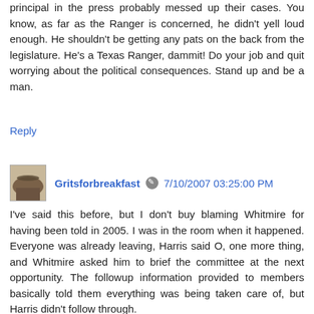principal in the press probably messed up their cases. You know, as far as the Ranger is concerned, he didn't yell loud enough. He shouldn't be getting any pats on the back from the legislature. He's a Texas Ranger, dammit! Do your job and quit worrying about the political consequences. Stand up and be a man.
Reply
Gritsforbreakfast  7/10/2007 03:25:00 PM
I've said this before, but I don't buy blaming Whitmire for having been told in 2005. I was in the room when it happened. Everyone was already leaving, Harris said O, one more thing, and Whitmire asked him to brief the committee at the next opportunity. The followup information provided to members basically told them everything was being taken care of, but Harris didn't follow through.
Some of the other stuff about the Lege's responsibility for most of the structural flaws at TYC they're now complaining about (rural facilities, open bay dorms, misdemeanants in